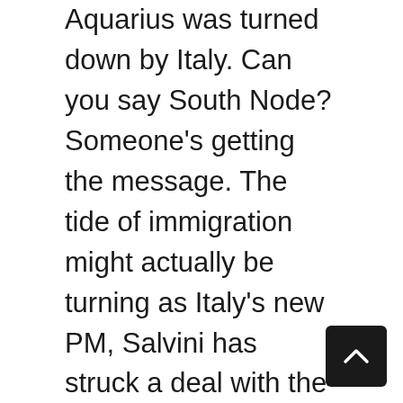Aquarius was turned down by Italy. Can you say South Node? Someone's getting the message. The tide of immigration might actually be turning as Italy's new PM, Salvini has struck a deal with the Libyans and their immigration policies. He did it before the UN and the EU jumped in. This is not a Right/Left issue, its people are tired of being told what to do and they've had enough. Recently, Hungary's foreign minister was grilled like a kebab by one of the BBC's bulldogs in blonde. He nobly held his ground and stood up for his country, who recently